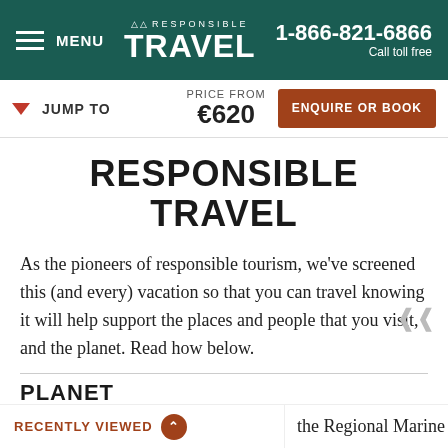MENU | RESPONSIBLE TRAVEL | 1-866-821-6866 Call toll free
▼ JUMP TO | PRICE FROM €620 | ENQUIRE OR BOOK
RESPONSIBLE TRAVEL
As the pioneers of responsible tourism, we've screened this (and every) vacation so that you can travel knowing it will help support the places and people that you visit, and the planet. Read how below.
PLANET
RECENTLY VIEWED | the Regional Marine